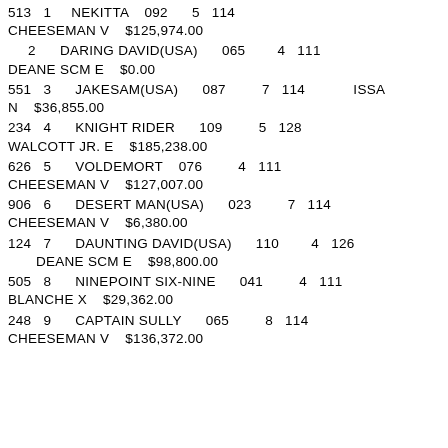| # | Pos | Horse | Code | Age | Weight | Trainer | Earnings |
| --- | --- | --- | --- | --- | --- | --- | --- |
| 513 | 1 | NEKITTA | 092 | 5 | 114 | CHEESEMAN V | $125,974.00 |
|  | 2 | DARING DAVID(USA) | 065 | 4 | 111 | DEANE SCM E | $0.00 |
| 551 | 3 | JAKESAM(USA) | 087 | 7 | 114 | ISSAN | $36,855.00 |
| 234 | 4 | KNIGHT RIDER | 109 | 5 | 128 | WALCOTT JR. E | $185,238.00 |
| 626 | 5 | VOLDEMORT | 076 | 4 | 111 | CHEESEMAN V | $127,007.00 |
| 906 | 6 | DESERT MAN(USA) | 023 | 7 | 114 | CHEESEMAN V | $6,380.00 |
| 124 | 7 | DAUNTING DAVID(USA) | 110 | 4 | 126 | DEANE SCM E | $98,800.00 |
| 505 | 8 | NINEPOINT SIX-NINE | 041 | 4 | 111 | BLANCHE X | $29,362.00 |
| 248 | 9 | CAPTAIN SULLY | 065 | 8 | 114 | CHEESEMAN V | $136,372.00 |